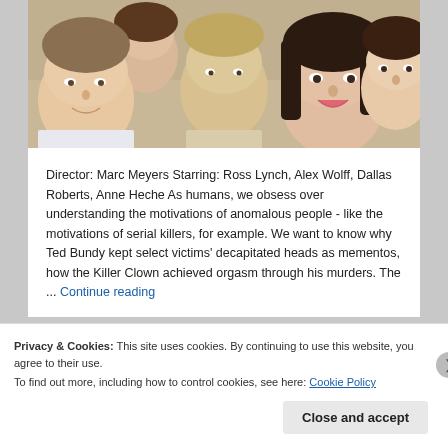[Figure (photo): Group photo of several young people (teenagers/young adults) posing together, cropped to show faces and upper bodies. Multiple faces visible including a boy on the left in a white shirt, a taller person in center, a smiling girl with dark hair in the center-right, and a girl on the far right.]
Director: Marc Meyers Starring: Ross Lynch, Alex Wolff, Dallas Roberts, Anne Heche As humans, we obsess over understanding the motivations of anomalous people - like the motivations of serial killers, for example. We want to know why Ted Bundy kept select victims' decapitated heads as mementos, how the Killer Clown achieved orgasm through his murders. The ... Continue reading
Privacy & Cookies: This site uses cookies. By continuing to use this website, you agree to their use.
To find out more, including how to control cookies, see here: Cookie Policy